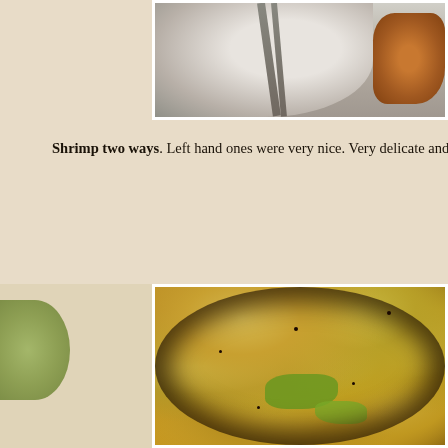[Figure (photo): Top portion of a photo showing a white bowl with chopsticks resting on it and a piece of glazed/sauced food item on the right side, cropped at the top of the page]
Shrimp two ways. Left hand ones were very nice. Very delicate and paire
[Figure (photo): A stir-fried cabbage dish served in a decorative dark scalloped pan/wok, showing golden-yellow cabbage pieces with green pepper slices and bits of meat/shrimp with black sesame seeds or spices scattered throughout]